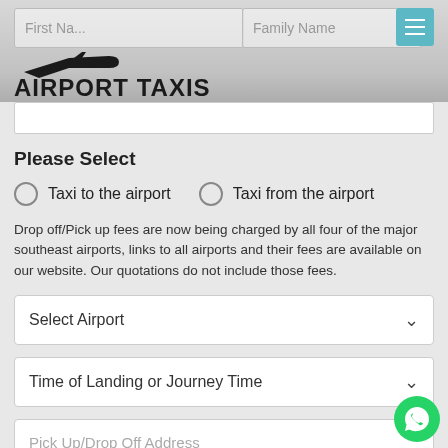Airport Taxis Knight and Day — website header with First Name, Family Name inputs and menu button
Please Select
Taxi to the airport   Taxi from the airport
Drop off/Pick up fees are now being charged by all four of the major southeast airports, links to all airports and their fees are available on our website. Our quotations do not include those fees.
Select Airport
Time of Landing or Journey Time
Pick Up/Drop Off Address
Town/City
UK County(i.e. Surrey)